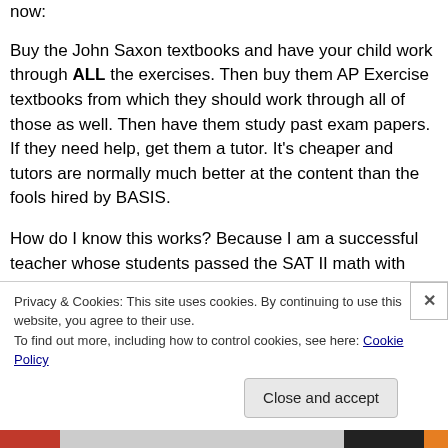now:
Buy the John Saxon textbooks and have your child work through ALL the exercises. Then buy them AP Exercise textbooks from which they should work through all of those as well. Then have them study past exam papers. If they need help, get them a tutor. It's cheaper and tutors are normally much better at the content than the fools hired by BASIS.
How do I know this works? Because I am a successful teacher whose students passed the SAT II math with perfect scores and not a single student of mine
Privacy & Cookies: This site uses cookies. By continuing to use this website, you agree to their use.
To find out more, including how to control cookies, see here: Cookie Policy
Close and accept